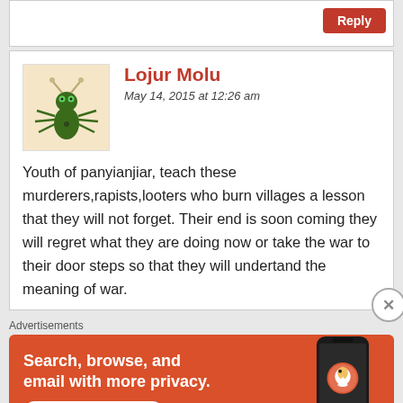[Figure (screenshot): Top portion of a web comment section with a red Reply button in the upper right corner]
Lojur Molu
May 14, 2015 at 12:26 am
Youth of panyianjiar, teach these murderers,rapists,looters who burn villages a lesson that they will not forget. Their end is soon coming they will regret what they are doing now or take the war to their door steps so that they will undertand the meaning of war.
Advertisements
[Figure (screenshot): DuckDuckGo advertisement banner with orange background. Text: Search, browse, and email with more privacy. All in One Free App. Shows DuckDuckGo logo and phone image.]